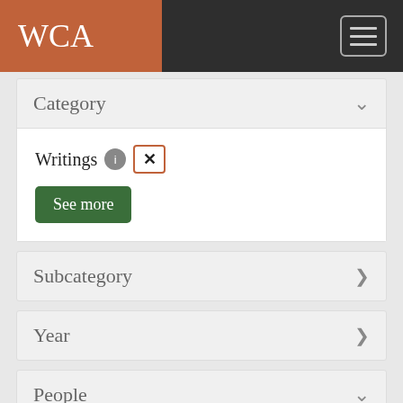WCA
Category
Writings 1 [x]
See more
Subcategory
Year
People
Cather, Charles Douglas (Douglass) 1 [x]
Cather, Charles Edwin 1